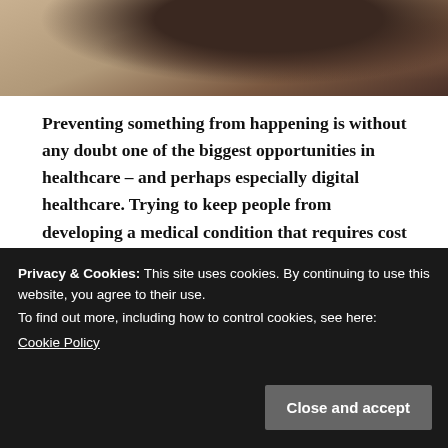[Figure (photo): Partial photo of a person wearing a purple top, cropped at the top of the page, showing upper body against a light background.]
Preventing something from happening is without any doubt one of the biggest opportunities in healthcare – and perhaps especially digital healthcare. Trying to keep people from developing a medical condition that requires cost medical care is a really good idea for everybody concerned. And given the nature of prevention – and thus lack of physical intervention on the body – it is an area that is really suited for everything digital.
Privacy & Cookies: This site uses cookies. By continuing to use this website, you agree to their use.
To find out more, including how to control cookies, see here:
Cookie Policy
for why this is so: